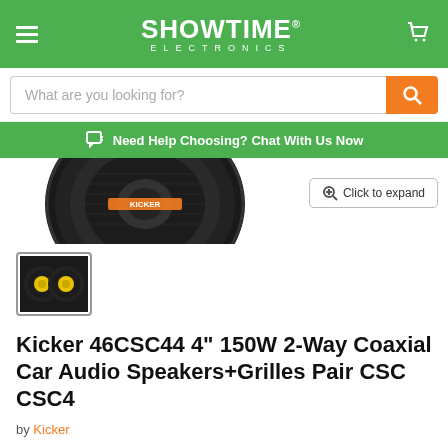SHOWTIME ELECTRONICS
What are you looking for?
Need Help Choosing? Chat With Us Now
[Figure (photo): Large Kicker speaker grille viewed from front, circular black mesh]
Click to expand
[Figure (photo): Thumbnail of two Kicker coaxial speakers with yellow cones, black background]
Kicker 46CSC44 4" 150W 2-Way Coaxial Car Audio Speakers+Grilles Pair CSC CSC4
by Kicker